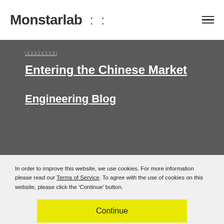Monstarlab :: ≡
xxxxxxxxx
Entering the Chinese Market
Engineering Blog
In order to improve this website, we use cookies. For more information please read our Terms of Service. To agree with the use of cookies on this website, please click the 'Continue' button.
Continue